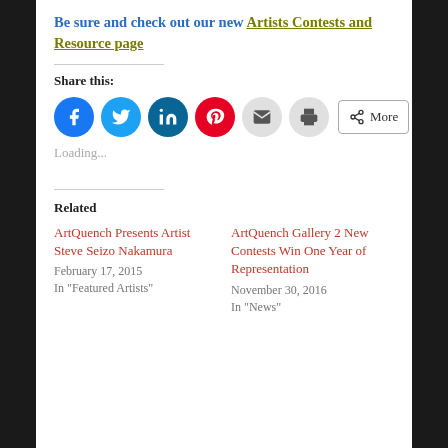Be sure and check out our new Artists Contests and Resource page
Share this:
[Figure (infographic): Social share buttons: Facebook, Twitter, LinkedIn, Pinterest, Email, Print, and More]
Loading...
Related
ArtQuench Presents Artist Steve Seizo Nakamura
February 17, 2015
In "Featured Artists"
ArtQuench Gallery 2 New Contests Win One Year of Representation
November 30, 2016
In "News"